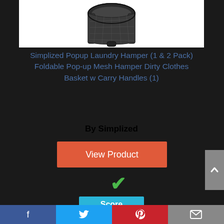[Figure (photo): Top portion of a black mesh popup laundry hamper product image, partially cropped at top]
Simplized Popup Laundry Hamper (1 & 2 Pack) Foldable Pop-up Mesh Hamper Dirty Clothes Basket w Carry Handles (1)
By Simplized
View Product
7✓ Score
Facebook Twitter Pinterest Email